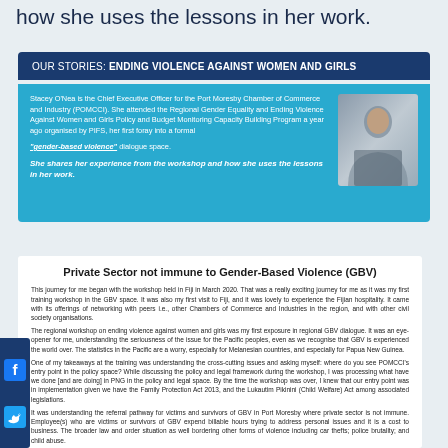how she uses the lessons in her work.
OUR STORIES: ENDING VIOLENCE AGAINST WOMEN AND GIRLS
Stacey O'Nea is the Chief Executive Officer for the Port Moresby Chamber of Commerce and Industry (POMCCI). She attended the Regional Gender Equality and Ending Violence Against Women and Girls Policy and Budget Monitoring Capacity Building Program a year ago organised by PIFS, her first foray into a formal "gender-based violence" dialogue space.

She shares her experience from the workshop and how she uses the lessons in her work.
[Figure (photo): Portrait photo of Stacey O'Nea]
Private Sector not immune to Gender-Based Violence (GBV)
This journey for me began with the workshop held in Fiji in March 2020. That was a really exciting journey for me as it was my first training workshop in the GBV space. It was also my first visit to Fiji, and it was lovely to experience the Fijian hospitality. It came with its offerings of networking with peers i.e., other Chambers of Commerce and Industries in the region, and with other civil society organisations.
The regional workshop on ending violence against women and girls was my first exposure in regional GBV dialogue. It was an eye-opener for me, understanding the seriousness of the issue for the Pacific peoples, even as we recognise that GBV is experienced the world over. The statistics in the Pacific are a worry, especially for Melanesian countries, and especially for Papua New Guinea.
One of my takeaways at the training was understanding the cross-cutting issues and asking myself: where do you see POMCCI's entry point in the policy space? While discussing the policy and legal framework during the workshop, I was processing what have we done [and are doing] in PNG in the policy and legal space. By the time the workshop was over, I knew that our entry point was in implementation given we have the Family Protection Act 2013, and the Lukautim Pikinini (Child Welfare) Act among associated legislations.
It was understanding the referral pathway for victims and survivors of GBV in Port Moresby where private sector is not immune. Employee(s) who are victims or survivors of GBV expend billable hours trying to address personal issues and it is a cost to business. The broader law and order situation as well bordering other forms of violence including car thefts; police brutality; and child abuse.
In noting we represent a provincial chamber, the thought process was scoping the existing mechanisms and synergies and building on those. We didn't want to reinvent the wheel, especially keeping cost in mind. At the workshop, we also learned about budget review. So, with that kind of insight into what it takes for interventions, it